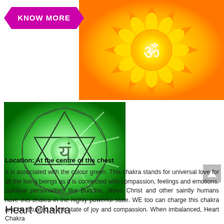[Figure (illustration): Purple/magenta 'KNOW MORE' banner button in the top left corner]
[Figure (illustration): Yellow solar plexus chakra mandala image with Sanskrit symbol in the center, orange and yellow tones]
[Figure (illustration): Green heart chakra symbol with hexagonal star geometry and Sanskrit 'Yam' symbol on green glowing background]
Heart Chakra
Location: At the centre of the chest
It is associated with the colour green. This chakra stands for universal love for all the living beings as it is connected with compassion, feelings and emotions. Spiritual personalities like Buddha, Jesus Christ and other saintly humans have this chakra in the highly powerful state. WE too can charge this chakra and be situated in the state of joy and compassion. When imbalanced, Heart Chakra